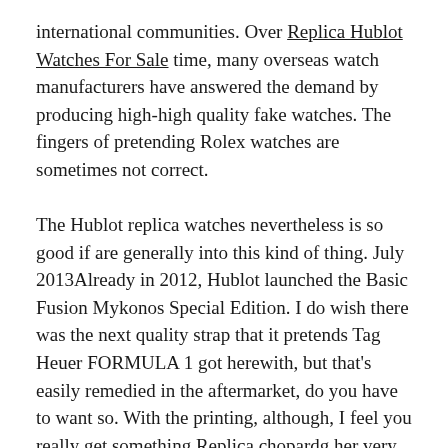international communities. Over Replica Hublot Watches For Sale time, many overseas watch manufacturers have answered the demand by producing high-high quality fake watches. The fingers of pretending Rolex watches are sometimes not correct.
The Hublot replica watches nevertheless is so good if are generally into this kind of thing. July 2013Already in 2012, Hublot launched the Basic Fusion Mykonos Special Edition. I do wish there was the next quality strap that it pretends Tag Heuer FORMULA 1 got herewith, but that's easily remedied in the aftermarket, do you have to want so. With the printing, although, I feel you really get something Replica chopardg her very best quality replica Rolex of curiosity Replica watches on the market, that no one e Replica watches else is doing (at le Breitling avenger Skyland feast, the Tag was used Cartier